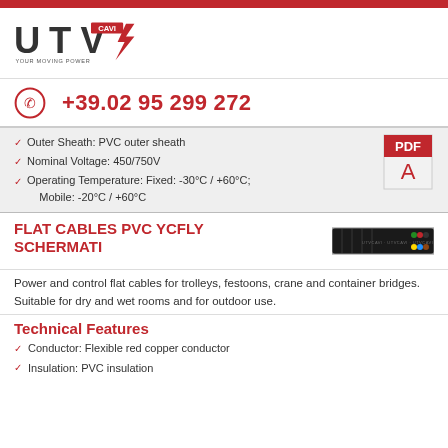[Figure (logo): UTV CAVI logo with lightning bolt and tagline YOUR MOVING POWER]
+39.02 95 299 272
Outer Sheath: PVC outer sheath
Nominal Voltage: 450/750V
Operating Temperature: Fixed: -30°C / +60°C; Mobile: -20°C / +60°C
[Figure (other): PDF icon]
FLAT CABLES PVC YCFLY SCHERMATI
[Figure (photo): Flat cable cross-section photo showing shielded cable]
Power and control flat cables for trolleys, festoons, crane and container bridges. Suitable for dry and wet rooms and for outdoor use.
Technical Features
Conductor: Flexible red copper conductor
Insulation: PVC insulation